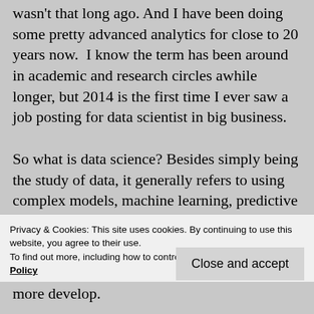wasn't that long ago. And I have been doing some pretty advanced analytics for close to 20 years now.  I know the term has been around in academic and research circles awhile longer, but 2014 is the first time I ever saw a job posting for data scientist in big business.

So what is data science? Besides simply being the study of data, it generally refers to using complex models, machine learning, predictive and prescriptive analytics and powerful technology to analyze business data in much greater volume, velocity and variety then possible a few years ago.
Privacy & Cookies: This site uses cookies. By continuing to use this website, you agree to their use.
To find out more, including how to control cookies, see here: Cookie Policy
Close and accept
more develop.